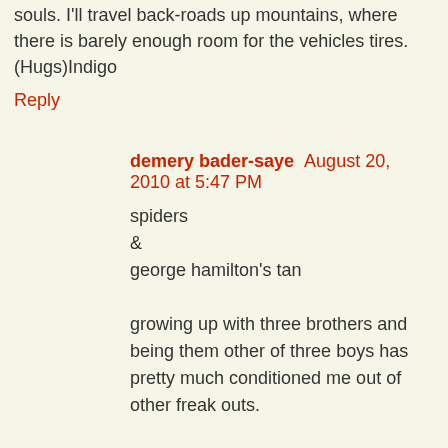souls. I'll travel back-roads up mountains, where there is barely enough room for the vehicles tires. (Hugs)Indigo
Reply
demery bader-saye  August 20, 2010 at 5:47 PM
spiders
&
george hamilton's tan

growing up with three brothers and being them other of three boys has pretty much conditioned me out of other freak outs.

happy freakin' friday!
Reply
demery bader-saye  August 20, 2010 at 5:48 PM
make that the mother